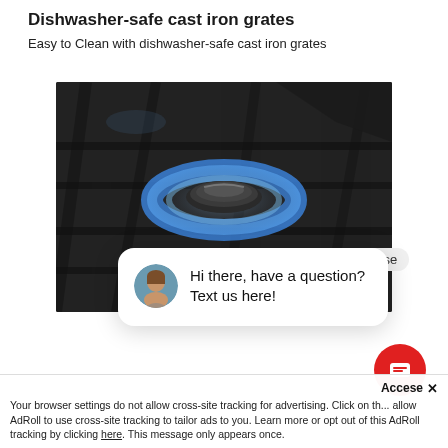Dishwasher-safe cast iron grates
Easy to Clean with dishwasher-safe cast iron grates
[Figure (photo): Close-up photo of a gas stove burner with blue flames, cast iron grate visible, dark metallic surface]
Hi there, have a question? Text us here!
Acce...se ×
Your browser settings do not allow cross-site tracking for advertising. Click on th... allow AdRoll to use cross-site tracking to tailor ads to you. Learn more or opt out of this AdRoll tracking by clicking here. This message only appears once.